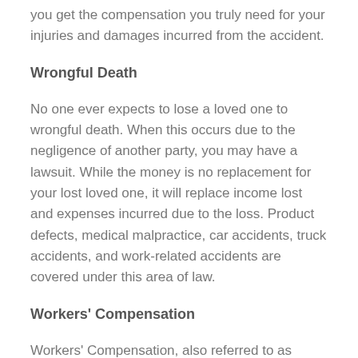you get the compensation you truly need for your injuries and damages incurred from the accident.
Wrongful Death
No one ever expects to lose a loved one to wrongful death. When this occurs due to the negligence of another party, you may have a lawsuit. While the money is no replacement for your lost loved one, it will replace income lost and expenses incurred due to the loss. Product defects, medical malpractice, car accidents, truck accidents, and work-related accidents are covered under this area of law.
Workers' Compensation
Workers' Compensation, also referred to as Workers'